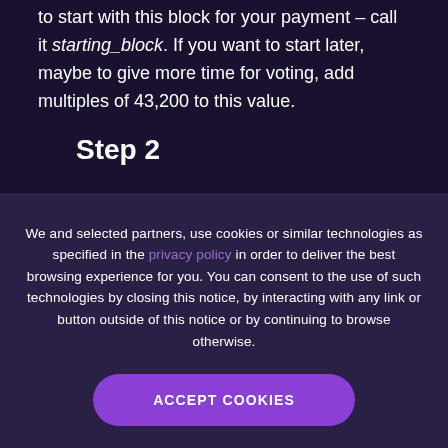to start with this block for your payment – call it starting_block. If you want to start later, maybe to give more time for voting, add multiples of 43,200 to this value.
Step 2
We and selected partners, use cookies or similar technologies as specified in the privacy policy in order to deliver the best browsing experience for you. You can consent to the use of such technologies by closing this notice, by interacting with any link or button outside of this notice or by continuing to browse otherwise.
ACCEPT COOKIES